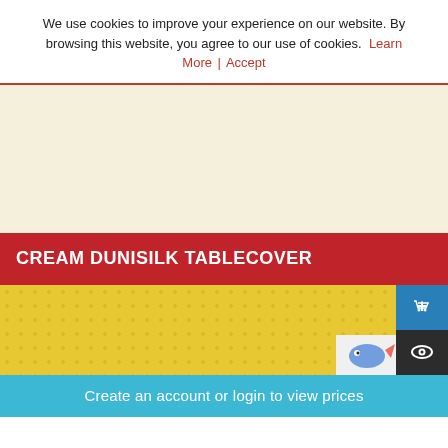We use cookies to improve your experience on our website. By browsing this website, you agree to our use of cookies. Learn More | Accept
[Figure (photo): Cream/off-white product image area for Cream Dunisilk Tablecover]
CREAM DUNISILK TABLECOVER
[Figure (photo): Yellow polka dot fabric thumbnail with add-to-cart and quick-view icons, and a small corner product image]
Create an account or login to view prices